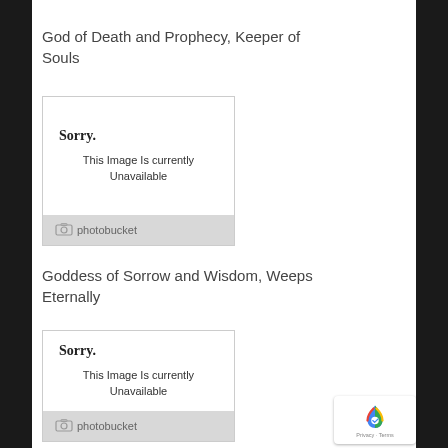God of Death and Prophecy, Keeper of Souls
[Figure (other): Photobucket unavailable image placeholder showing 'Sorry. This Image Is currently Unavailable' with photobucket logo footer]
Goddess of Sorrow and Wisdom, Weeps Eternally
[Figure (other): Photobucket unavailable image placeholder showing 'Sorry. This Image Is currently Unavailable' with photobucket logo footer]
[Figure (other): Google reCAPTCHA badge with Privacy and Terms text]